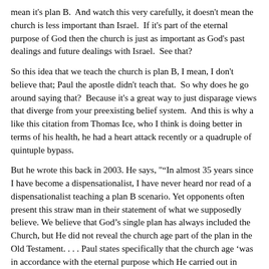mean it's plan B.  And watch this very carefully, it doesn't mean the church is less important than Israel.  If it's part of the eternal purpose of God then the church is just as important as God's past dealings and future dealings with Israel.  See that?
So this idea that we teach the church is plan B, I mean, I don't believe that; Paul the apostle didn't teach that.  So why does he go around saying that?  Because it's a great way to just disparage views that diverge from your preexisting belief system.  And this is why a like this citation from Thomas Ice, who I think is doing better in terms of his health, he had a heart attack recently or a quadruple of quintuple bypass.
But he wrote this back in 2003. He says, "“In almost 35 years since I have become a dispensationalist, I have never heard nor read of a dispensationalist teaching a plan B scenario. Yet opponents often present this straw man in their statement of what we supposedly believe. We believe that God’s single plan has always included the Church, but He did not reveal the church age part of the plan in the Old Testament. . . . Paul states specifically that the church age ‘was in accordance with the eternal purpose which He carried out in Christ Jesus our Lord’” Ephesians 3:11, that’s the verse we looked at a second ago which calls the church the eternal purpose of God. “This is why dispensationalists have never taught the so-called plan A and plan B theory that critics suppose we hold. Dispensationalists have always taught that there is a single plan...